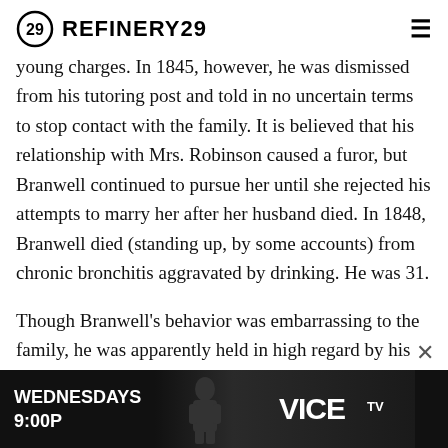REFINERY29
young charges. In 1845, however, he was dismissed from his tutoring post and told in no uncertain terms to stop contact with the family. It is believed that his relationship with Mrs. Robinson caused a furor, but Branwell continued to pursue her until she rejected his attempts to marry her after her husband died. In 1848, Branwell died (standing up, by some accounts) from chronic bronchitis aggravated by drinking. He was 31.
Though Branwell's behavior was embarrassing to the family, he was apparently held in high regard by his younger sister, the reclusive Emily. The Wuthering Heights author died, at age 30, less than three months after her brothe… time comm… rt"
[Figure (screenshot): Advertisement banner for VICE TV: WEDNESDAYS 9:00P with dark background image of a person and the VICE TV logo]